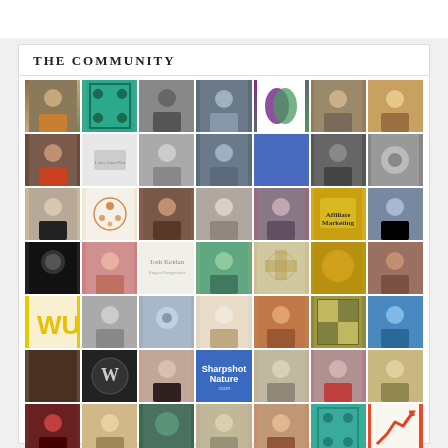THE COMMUNITY
[Figure (photo): Grid of community member profile photos, avatars, and logos arranged in 7 rows of 7 columns each. Includes portraits, illustrated avatars, brand logos (WU, W, Sharpshot Nature, Affiliate Marketing, Josh Keidan, Income Signs), and decorative pattern tiles.]